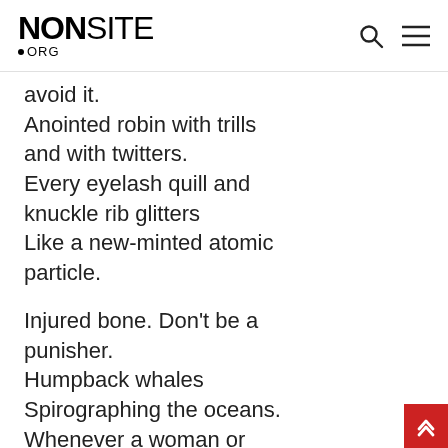NONSITE.ORG
avoid it.
Anointed robin with trills and with twitters.
Every eyelash quill and knuckle rib glitters
Like a new-minted atomic particle.

Injured bone. Don't be a punisher.
Humpback whales
Spirographing the oceans.
Whenever a woman or flower bud opens,